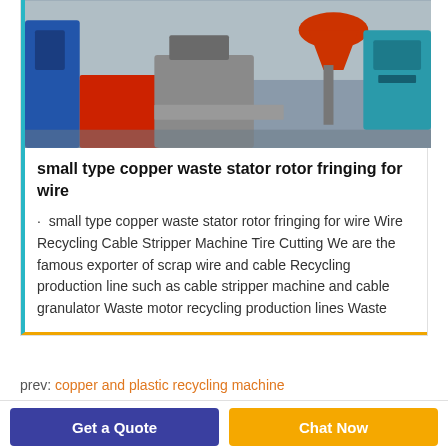[Figure (photo): Industrial machinery photo showing cable wire recycling equipment with red and blue machine components in a factory setting]
small type copper waste stator rotor fringing for wire
small type copper waste stator rotor fringing for wire Wire Recycling Cable Stripper Machine Tire Cutting We are the famous exporter of scrap wire and cable Recycling production line such as cable stripper machine and cable granulator Waste motor recycling production lines Waste
prev: copper and plastic recycling machine